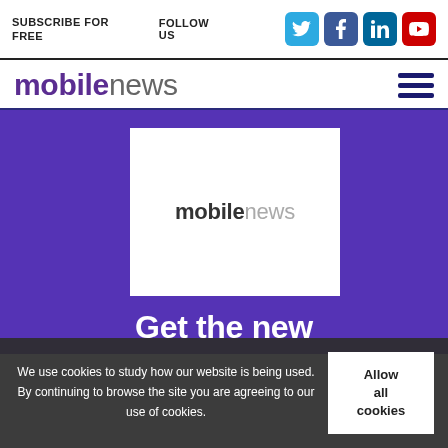SUBSCRIBE FOR FREE | FOLLOW US
mobilenews
[Figure (screenshot): Mobile News website screenshot showing the mobilenews logo on a purple background with 'Get the new' text below]
We use cookies to study how our website is being used. By continuing to browse the site you are agreeing to our use of cookies.